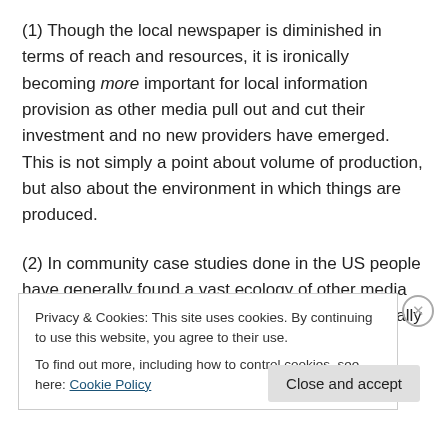(1) Though the local newspaper is diminished in terms of reach and resources, it is ironically becoming more important for local information provision as other media pull out and cut their investment and no new providers have emerged. This is not simply a point about volume of production, but also about the environment in which things are produced.
(2) In community case studies done in the US people have generally found a vast ecology of other media outlets reusing and commenting upon news originally produced
Privacy & Cookies: This site uses cookies. By continuing to use this website, you agree to their use. To find out more, including how to control cookies, see here: Cookie Policy
Close and accept